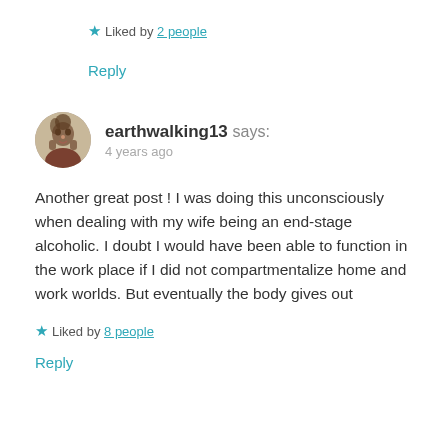★ Liked by 2 people
Reply
earthwalking13 says: 4 years ago
Another great post ! I was doing this unconsciously when dealing with my wife being an end-stage alcoholic. I doubt I would have been able to function in the work place if I did not compartmentalize home and work worlds. But eventually the body gives out
★ Liked by 8 people
Reply